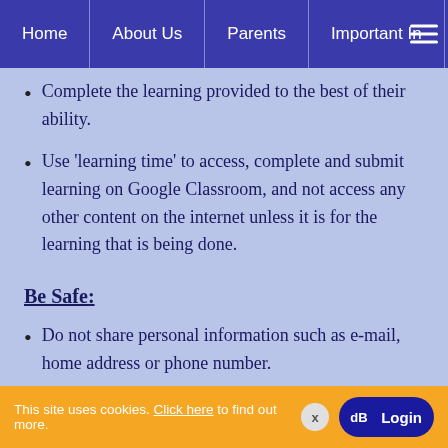Home | About Us | Parents | Important In
Complete the learning provided to the best of their ability.
Use ‘learning time’ to access, complete and submit learning on Google Classroom, and not access any other content on the internet unless it is for the learning that is being done.
Be Safe:
Do not share personal information such as e-mail, home address or phone number.
Only login using their own username/login and
This site uses cookies. Click here to find out more. x  Login